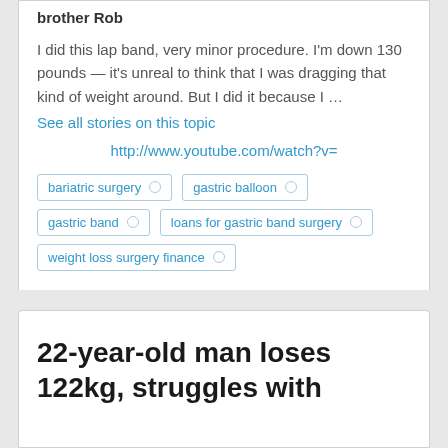brother Rob
I did this lap band, very minor procedure. I'm down 130 pounds — it's unreal to think that I was dragging that kind of weight around. But I did it because I …
See all stories on this topic
http://www.youtube.com/watch?v=
bariatric surgery
gastric balloon
gastric band
loans for gastric band surgery
weight loss surgery finance
22-year-old man loses 122kg, struggles with